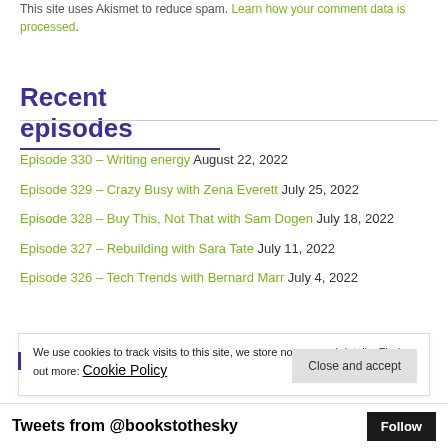This site uses Akismet to reduce spam. Learn how your comment data is processed.
Recent episodes
Episode 330 – Writing energy August 22, 2022
Episode 329 – Crazy Busy with Zena Everett July 25, 2022
Episode 328 – Buy This, Not That with Sam Dogen July 18, 2022
Episode 327 – Rebuilding with Sara Tate July 11, 2022
Episode 326 – Tech Trends with Bernard Marr July 4, 2022
We use cookies to track visits to this site, we store no personal details. Find out more: Cookie Policy
Tweets from @bookstothesky